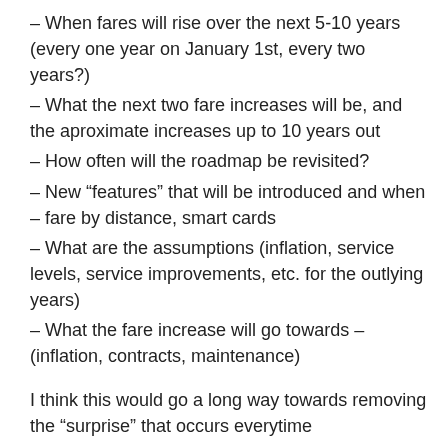– When fares will rise over the next 5-10 years (every one year on January 1st, every two years?)
– What the next two fare increases will be, and the aproximate increases up to 10 years out
– How often will the roadmap be revisited?
– New “features” that will be introduced and when – fare by distance, smart cards
– What are the assumptions (inflation, service levels, service improvements, etc. for the outlying years)
– What the fare increase will go towards – (inflation, contracts, maintenance)
I think this would go a long way towards removing the “surprise” that occurs everytime